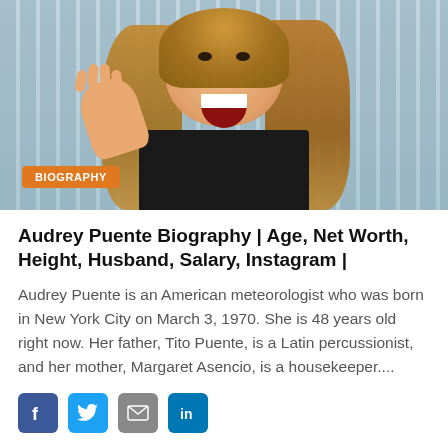[Figure (photo): Photo of Audrey Puente smiling with mouth open and waving hand, in front of vertical blinds/glass background. Orange 'BIOGRAPHY' badge overlaid at bottom left of photo.]
Audrey Puente Biography | Age, Net Worth, Height, Husband, Salary, Instagram |
Audrey Puente is an American meteorologist who was born in New York City on March 3, 1970. She is 48 years old right now. Her father, Tito Puente, is a Latin percussionist, and her mother, Margaret Asencio, is a housekeeper....
[Figure (other): Social media sharing icons: Facebook (blue), Twitter (blue), Email/share (grey), LinkedIn (blue)]